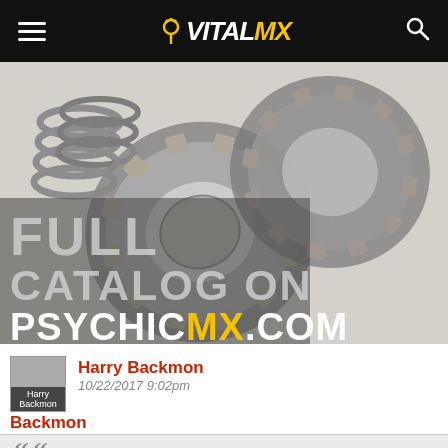VITALMX
[Figure (photo): Photo of motorcycle clutch plates, springs, and friction discs on a white background, with overlay text reading FULL CATALOG ON PSYCHICMX.COM]
Harry Backmon
10/22/2017 9:02pm
Backmon
““ F150Motocrosser wrote: ””